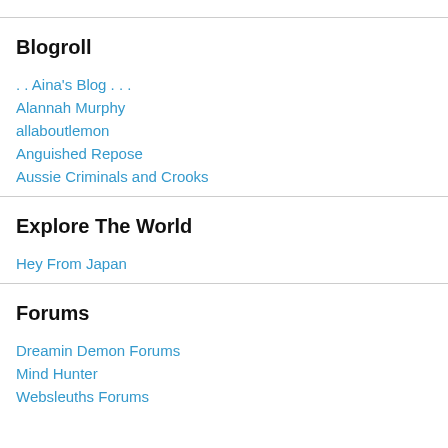Blogroll
. . Aina's Blog . . .
Alannah Murphy
allaboutlemon
Anguished Repose
Aussie Criminals and Crooks
Explore The World
Hey From Japan
Forums
Dreamin Demon Forums
Mind Hunter
Websleuths Forums